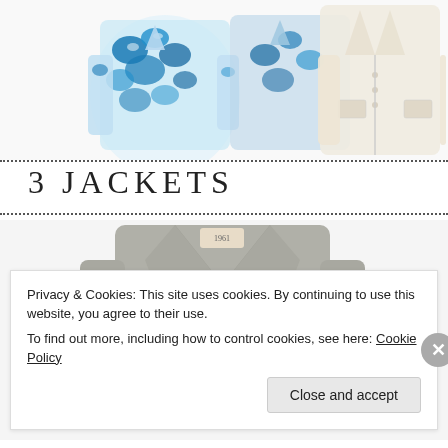[Figure (photo): Two floral blue and white jackets on the left, and a beige/cream blazer on the right, product shots on white background]
3 JACKETS
[Figure (photo): Gray leather biker jacket with zipper detail and quilted sleeves, product shot on white background]
Privacy & Cookies: This site uses cookies. By continuing to use this website, you agree to their use.
To find out more, including how to control cookies, see here: Cookie Policy
Close and accept